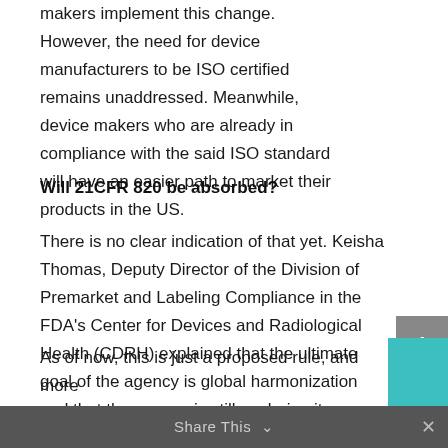makers implement this change. However, the need for device manufacturers to be ISO certified remains unaddressed. Meanwhile, device makers who are already in compliance with the said ISO standard will have an easier path to market their products in the US.
Will 21CFR 820 be absorbed?
There is no clear indication of that yet. Keisha Thomas, Deputy Director of the Division of Premarket and Labeling Compliance in the FDA's Center for Devices and Radiological Health (CDRH) explained that the ultimate goal of the agency is global harmonization and that the agency is still exploring its options. She did certainly say that there would not be dual quality management sets of requirements.4
As of now, this is just a proposed rule, and more...
Share This ∨